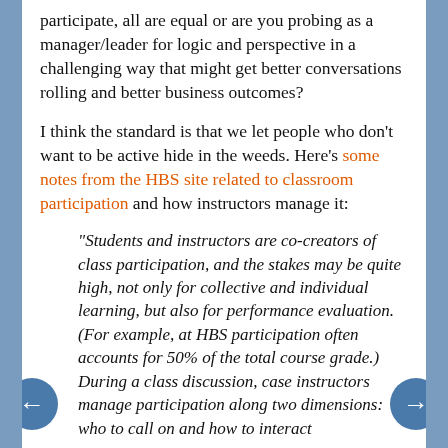participate, all are equal or are you probing as a manager/leader for logic and perspective in a challenging way that might get better conversations rolling and better business outcomes?
I think the standard is that we let people who don't want to be active hide in the weeds. Here's some notes from the HBS site related to classroom participation and how instructors manage it:
"Students and instructors are co-creators of class participation, and the stakes may be quite high, not only for collective and individual learning, but also for performance evaluation. (For example, at HBS participation often accounts for 50% of the total course grade.) During a class discussion, case instructors manage participation along two dimensions: who to call on and how to interact